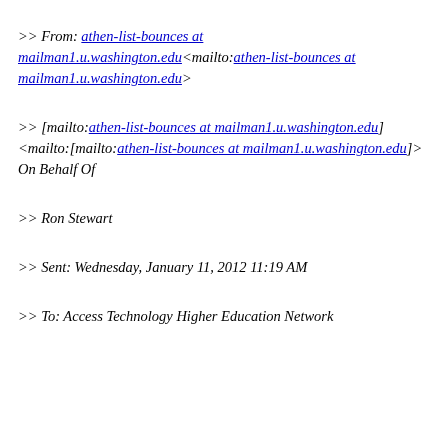>> From: athen-list-bounces at mailman1.u.washington.edu<mailto:athen-list-bounces at mailman1.u.washington.edu>
>> [mailto:athen-list-bounces at mailman1.u.washington.edu] <mailto:[mailto:athen-list-bounces at mailman1.u.washington.edu]> On Behalf Of
>> Ron Stewart
>> Sent: Wednesday, January 11, 2012 11:19 AM
>> To: Access Technology Higher Education Network